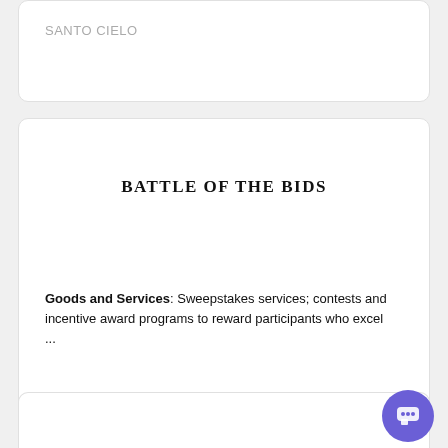SANTO CIELO
BATTLE OF THE BIDS
Goods and Services: Sweepstakes services; contests and incentive award programs to reward participants who excel ...
LIVE (Circa: 2022)
BATTLE OF THE BIDS
IGNITE MEDICAL RESORTS